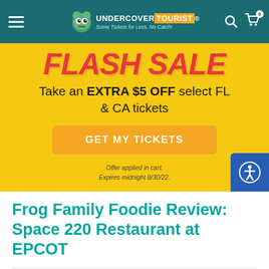[Figure (screenshot): Undercover Tourist website navigation bar with hamburger menu, frog logo, brand name, search and cart icons on teal background]
[Figure (infographic): Flash Sale promotional banner on yellow background with red 'FLASH SALE' heading, offer text 'Take an EXTRA $5 OFF select FL & CA tickets', orange GET MY TICKETS button, and fine print about offer expiry]
Frog Family Foodie Review: Space 220 Restaurant at EPCOT
by Mommy Frog on October 27, 2021   3   Orlando